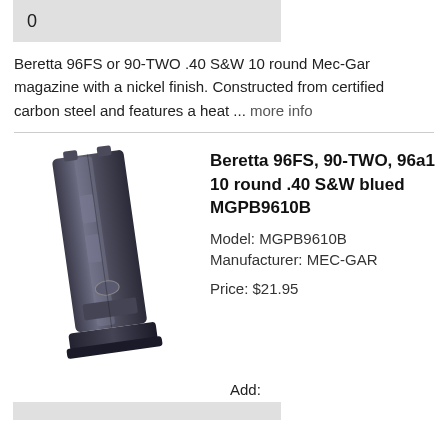0
Beretta 96FS or 90-TWO .40 S&W 10 round Mec-Gar magazine with a nickel finish. Constructed from certified carbon steel and features a heat ... more info
Beretta 96FS, 90-TWO, 96a1 10 round .40 S&W blued MGPB9610B
Model: MGPB9610B
Manufacturer: MEC-GAR
Price: $21.95
[Figure (photo): Photo of a blued steel Mec-Gar magazine for Beretta 96FS, 90-TWO, 96a1, .40 S&W, 10 round capacity]
Add: